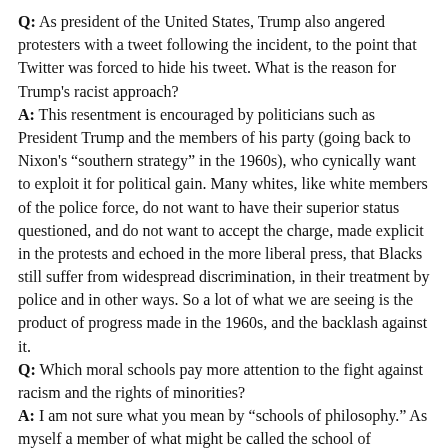Q: As president of the United States, Trump also angered protesters with a tweet following the incident, to the point that Twitter was forced to hide his tweet. What is the reason for Trump's racist approach?
A: This resentment is encouraged by politicians such as President Trump and the members of his party (going back to Nixon's "southern strategy" in the 1960s), who cynically want to exploit it for political gain. Many whites, like white members of the police force, do not want to have their superior status questioned, and do not want to accept the charge, made explicit in the protests and echoed in the more liberal press, that Blacks still suffer from widespread discrimination, in their treatment by police and in other ways. So a lot of what we are seeing is the product of progress made in the 1960s, and the backlash against it.
Q: Which moral schools pay more attention to the fight against racism and the rights of minorities?
A: I am not sure what you mean by "schools of philosophy." As myself a member of what might be called the school of egalitarian liberalism, of which the work of John Rawls is a